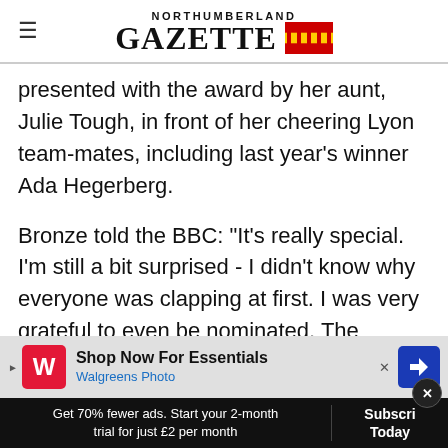NORTHUMBERLAND GAZETTE
presented with the award by her aunt, Julie Tough, in front of her cheering Lyon team-mates, including last year's winner Ada Hegerberg.
Bronze told the BBC: "It's really special. I'm still a bit surprised - I didn't know why everyone was clapping at first. I was very grateful to even be nominated. The people who've been nominated along... really great years."
[Figure (screenshot): Walgreens Photo advertisement banner: Shop Now For Essentials]
[Figure (screenshot): Subscribe CTA bar: Get 70% fewer ads. Start your 2-month trial for just £2 per month | Subscribe Today]